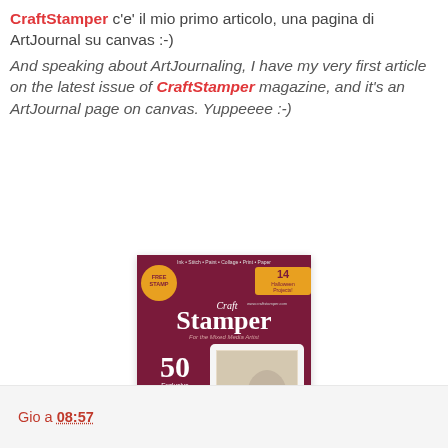CraftStamper c'e' il mio primo articolo, una pagina di ArtJournal su canvas :-)
And speaking about ArtJournaling, I have my very first article on the latest issue of CraftStamper magazine, and it's an ArtJournal page on canvas. Yuppeeee :-)
[Figure (photo): Cover of Craft Stamper magazine showing a mixed media Halloween themed issue with text: Ink Stitch Paint Collage Print Paper, 14 Halloween Projects, FREE STAMP, 50 Exclusive Makes, Hair-raising Creations, A gallery of Halloween goodies in our 3D Challenge, FREE STAMP by Barry Williamson, On Top of the WORLD Where dreams are made...]
Gio a 08:57